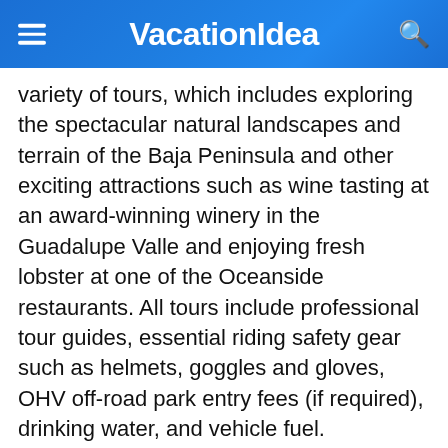VacationIdea
variety of tours, which includes exploring the spectacular natural landscapes and terrain of the Baja Peninsula and other exciting attractions such as wine tasting at an award-winning winery in the Guadalupe Valle and enjoying fresh lobster at one of the Oceanside restaurants. All tours include professional tour guides, essential riding safety gear such as helmets, goggles and gloves, OHV off-road park entry fees (if required), drinking water, and vehicle fuel.
Chula Vista, CA. Phone: 619-350-7776